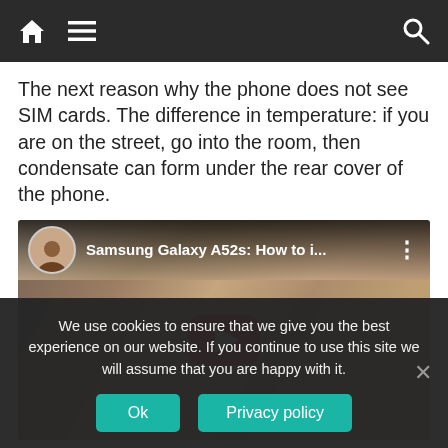Navigation bar with home, menu, and search icons
The next reason why the phone does not see SIM cards. The difference in temperature: if you are on the street, go into the room, then condensate can form under the rear cover of the phone.
[Figure (screenshot): YouTube video embed showing Samsung Galaxy A52s: How to i... with play button overlay, circular avatar thumbnail, and three-dot menu icon]
We use cookies to ensure that we give you the best experience on our website. If you continue to use this site we will assume that you are happy with it.
Ok   Privacy policy